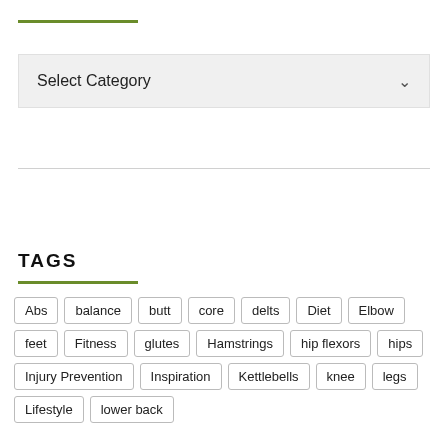Select Category
TAGS
Abs
balance
butt
core
delts
Diet
Elbow
feet
Fitness
glutes
Hamstrings
hip flexors
hips
Injury Prevention
Inspiration
Kettlebells
knee
legs
Lifestyle
lower back